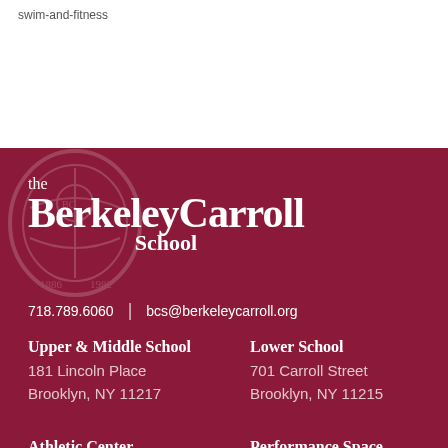swim-and-fitness
[Figure (logo): The Berkeley Carroll School logo — white text on dark red/maroon background with a faint crest watermark]
718.789.6060  |  bcs@berkeleycarroll.org
Upper & Middle School
181 Lincoln Place
Brooklyn, NY 11217
Lower School
701 Carroll Street
Brooklyn, NY 11215
Athletic Center
762 President Street
Brooklyn, NY 11215
Performance Space
152 Sterling Place
Brooklyn, NY 11217